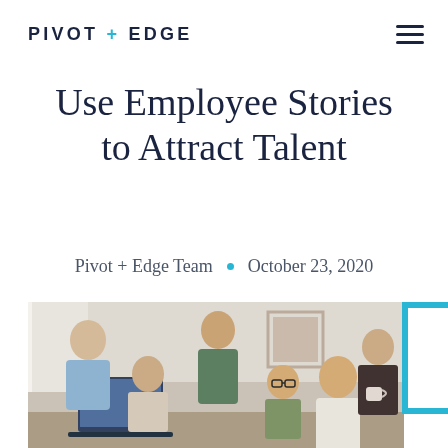PIVOT + EDGE
Use Employee Stories to Attract Talent
Pivot + Edge Team  •  October 23, 2020
[Figure (photo): Group of employees gathered around a laptop, smiling and collaborating in an office/home setting. Several people standing and sitting, looking engaged.]